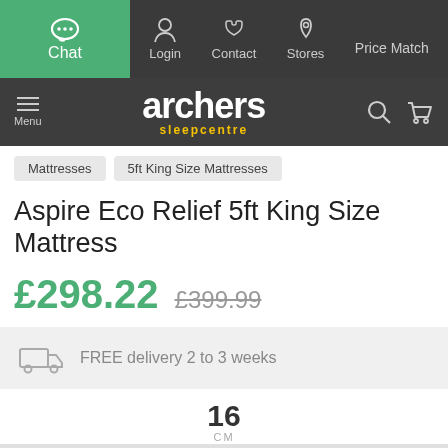Chat | Login | Contact | Stores | Price Match
[Figure (logo): Archers Sleepcentre logo with menu, search and basket icons]
Mattresses | 5ft King Size Mattresses
Aspire Eco Relief 5ft King Size Mattress
£298.22  £399.99
FREE delivery 2 to 3 weeks
16 CM
MEDIUM TO FIRM | FOAM | MATTRESS DEPTH
L200cm x W150cm x D16cm